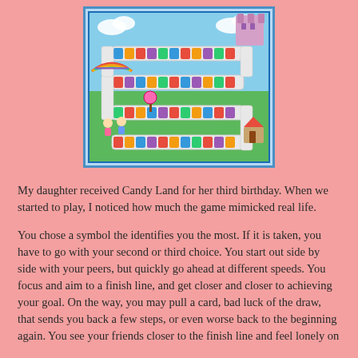[Figure (illustration): Candy Land board game box top showing the colorful winding game board with rainbow-colored path, cartoon characters, candy-themed landmarks, and whimsical scenery including a castle, children game pieces, and various sweet-themed locations.]
My daughter received Candy Land for her third birthday. When we started to play, I noticed how much the game mimicked real life.
You chose a symbol the identifies you the most. If it is taken, you have to go with your second or third choice. You start out side by side with your peers, but quickly go ahead at different speeds. You focus and aim to a finish line, and get closer and closer to achieving your goal. On the way, you may pull a card, bad luck of the draw, that sends you back a few steps, or even worse back to the beginning again. You see your friends closer to the finish line and feel lonely on